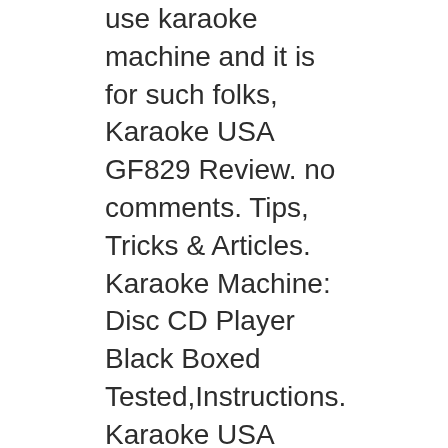use karaoke machine and it is for such folks, Karaoke USA GF829 Review. no comments. Tips, Tricks & Articles. Karaoke Machine: Disc CD Player Black Boxed Tested,Instructions. Karaoke USA GF829 Portable DVD CD+G.
Shop for Karaoke GF829 DVD/CD+G/MP3+G Karaoke System with 7" TFT Color Screen. Get free delivery at Overstock.com The Karaoke USA system is an awesome machine Read customer reviews and rating about Karaoke GF829 DVD/CD+G/MP3+G Karaoke System with 7" TFT Color Screen at Overstock.com The Karaoke USA system is an